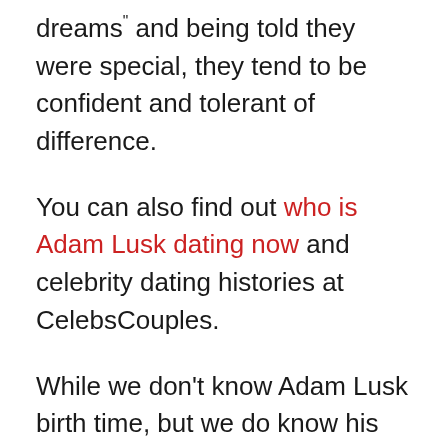dreams" and being told they were special, they tend to be confident and tolerant of difference.
You can also find out who is Adam Lusk dating now and celebrity dating histories at CelebsCouples.
While we don't know Adam Lusk birth time, but we do know his mother gave birth to his on a Monday. People born on a Monday tend to be a bit sensitive and emotional. They have imagination and don't like planning things in advance. They're flexible and good at improvising.